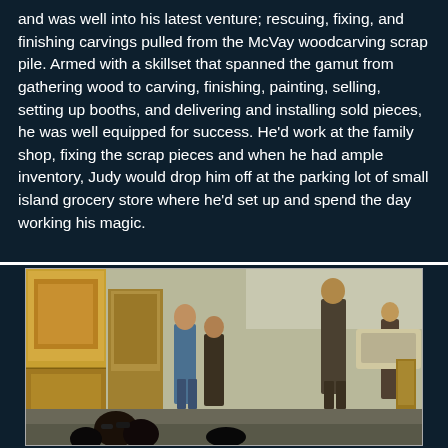and was well into his latest venture; rescuing, fixing, and finishing carvings pulled from the McVay woodcarving scrap pile. Armed with a skillset that spanned the gamut from gathering wood to carving, finishing, painting, selling, setting up booths, and delivering and installing sold pieces, he was well equipped for success. He'd work at the family shop, fixing the scrap pieces and when he had ample inventory, Judy would drop him off at the parking lot of small island grocery store where he'd set up and spend the day working his magic.
[Figure (photo): Vintage photograph of an outdoor market or craft fair scene in a parking lot. Several people are visible, along with what appears to be large wooden carvings or sculptures on display. The image has warm golden-brown tones typical of 1970s photography.]